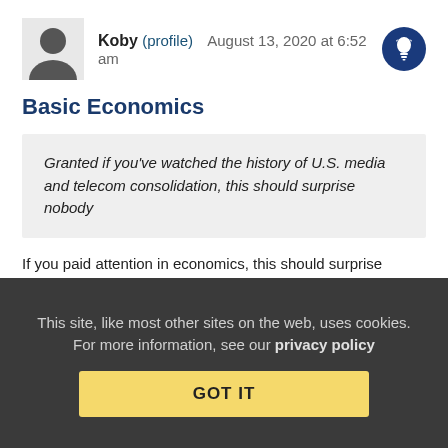Koby (profile) August 13, 2020 at 6:52 am
Basic Economics
Granted if you've watched the history of U.S. media and telecom consolidation, this should surprise nobody
If you paid attention in economics, this should surprise nobody. This is the entire point behind mergers and consolidations. It removes competition, and allows for a single company to eliminate jobs with duplicate functions. Any judge who believed otherwise to approve the merger was a real dupe.
Reply | View in chronology
This site, like most other sites on the web, uses cookies. For more information, see our privacy policy GOT IT